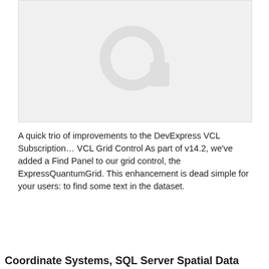[Figure (screenshot): Placeholder image with a faded circular icon on a light grey background]
A quick trio of improvements to the DevExpress VCL Subscription… VCL Grid Control As part of v14.2, we've added a Find Panel to our grid control, the ExpressQuantumGrid. This enhancement is dead simple for your users: to find some text in the dataset.
Why We Use Cookies
This site uses cookies to make your browsing experience more convenient and personal. Cookies store useful information on your computer to help us improve the efficiency and relevance of our site for you. In some cases, they are essential to making the site work properly. By accessing this site, you consent to the use of cookies. For more information, refer to DevExpress' privacy policy and cookie policy.
I UNDERSTAND
Coordinate Systems, SQL Server Spatial Data